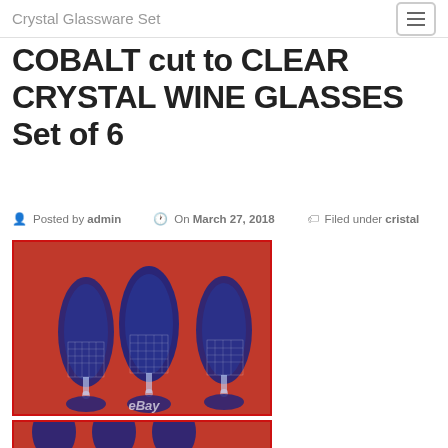Crystal Glassware Set
COBALT cut to CLEAR CRYSTAL WINE GLASSES Set of 6
Posted by admin   On March 27, 2018   Filed under cristal
[Figure (photo): Six cobalt blue cut-to-clear crystal wine glasses arranged on a red background, with an eBay watermark]
[Figure (photo): Partial view of cobalt blue crystal glassware on red background (bottom crop)]